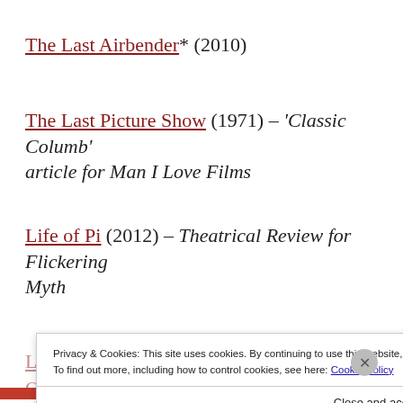The Last Airbender* (2010)
The Last Picture Show (1971) – 'Classic Columb' article for Man I Love Films
Life of Pi (2012) – Theatrical Review for Flickering Myth
Privacy & Cookies: This site uses cookies. By continuing to use this website, you agree to their use. To find out more, including how to control cookies, see here: Cookie Policy
Close and accept